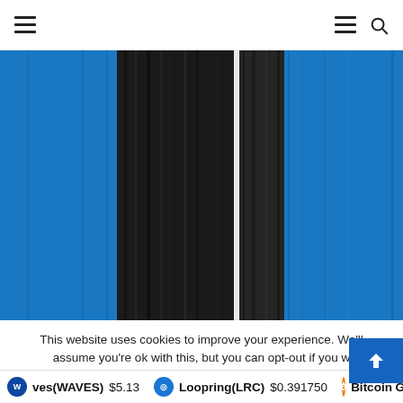Navigation header with hamburger menu icons and search
[Figure (photo): Abstract vertical stripes image with blue and black color bands]
This website uses cookies to improve your experience. We'll assume you're ok with this, but you can opt-out if you w
ves(WAVES) $5.13   Loopring(LRC) $0.391750   Bitcoin G